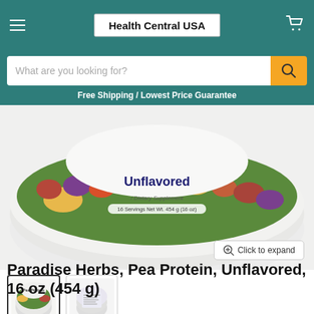Health Central USA
What are you looking for?
Free Shipping / Lowest Price Guarantee
[Figure (photo): Paradise Herbs Pea Protein Unflavored product jar, top view showing label with colorful herbs/flowers and text 'Unflavored', 'Dietary Supplement', '16 Servings Net Wt. 454 g (16 oz)']
Click to expand
[Figure (photo): Thumbnail of Paradise Herbs Pea Protein jar, front view]
[Figure (photo): Thumbnail of Paradise Herbs Pea Protein jar, back/side view showing nutrition facts]
Paradise Herbs, Pea Protein, Unflavored, 16 oz (454 g)